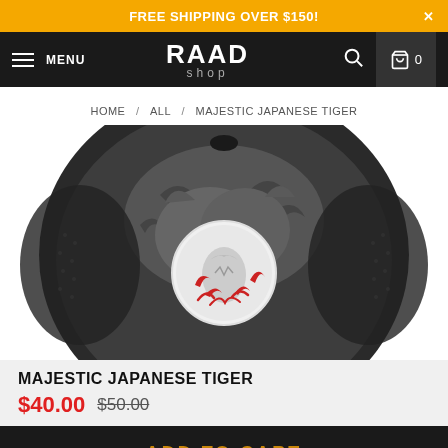FREE SHIPPING OVER $150!
RAAD shop — MENU — Search — Cart 0
HOME / ALL / MAJESTIC JAPANESE TIGER
[Figure (photo): Top-down view of a black trucker hat with Japanese tiger embroidery — a large grey tiger fills the crown, with a smaller white tiger and red floral/scorpion details in the center]
MAJESTIC JAPANESE TIGER
$40.00  $50.00
ADD TO CART